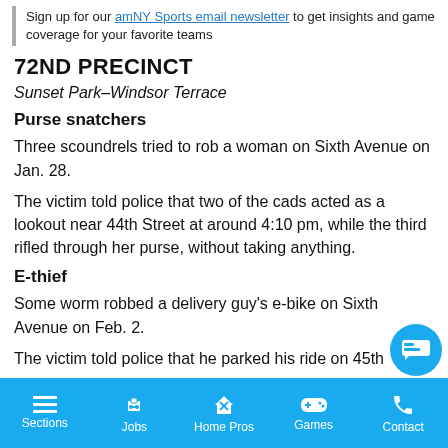Sign up for our amNY Sports email newsletter to get insights and game coverage for your favorite teams
72ND PRECINCT
Sunset Park–Windsor Terrace
Purse snatchers
Three scoundrels tried to rob a woman on Sixth Avenue on Jan. 28.
The victim told police that two of the cads acted as a lookout near 44th Street at around 4:10 pm, while the third rifled through her purse, without taking anything.
E-thief
Some worm robbed a delivery guy's e-bike on Sixth Avenue on Feb. 2.
The victim told police that he parked his ride on 45th…
Sections | Jobs | Home Pros | Games | Contact